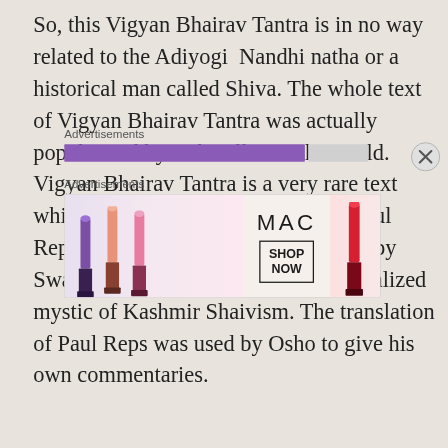So, this Vigyan Bhairav Tantra is in no way related to the Adiyogi  Nandhi natha or a historical man called Shiva. The whole text of Vigyan Bhairav Tantra was actually popularized by Osho all over the world. Vigyan Bhairav Tantra is a very rare text which was translated to English by Paul Reps based on the commentary given by Swami Lakshman Joo Raina, a self-realized mystic of Kashmir Shaivism. The translation of Paul Reps was used by Osho to give his own commentaries.
Advertisements
[Figure (other): Purple progress/loading bar with gray box beside it, and a close (X) button]
Advertisements
[Figure (other): MAC cosmetics advertisement showing lipsticks in purple, pink, and red colors with MAC logo and SHOP NOW button]